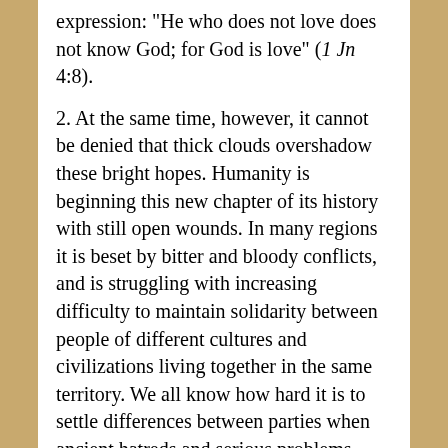expression: "He who does not love does not know God; for God is love" (1 Jn 4:8).
2. At the same time, however, it cannot be denied that thick clouds overshadow these bright hopes. Humanity is beginning this new chapter of its history with still open wounds. In many regions it is beset by bitter and bloody conflicts, and is struggling with increasing difficulty to maintain solidarity between people of different cultures and civilizations living together in the same territory. We all know how hard it is to settle differences between parties when ancient hatreds and serious problems which admit of no easy solution create an atmosphere of anger and exasperation. But no less dangerous for the future of peace would be the inability to confront intelligently the problems posed by a new social configuration resulting in many countries from accelerated migration and the unprecedented situation of people of different cultures and civilizations living side by side.